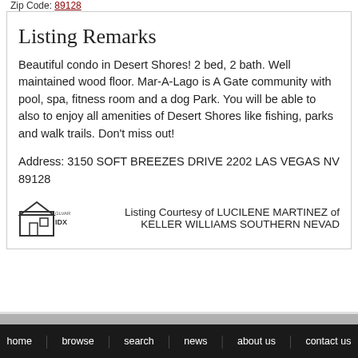Zip Code: 89128
Listing Remarks
Beautiful condo in Desert Shores! 2 bed, 2 bath. Well maintained wood floor. Mar-A-Lago is A Gate community with pool, spa, fitness room and a dog Park. You will be able to also to enjoy all amenities of Desert Shores like fishing, parks and walk trails. Don't miss out!
Address: 3150 SOFT BREEZES DRIVE 2202 LAS VEGAS NV 89128
Listing Courtesy of LUCILENE MARTINEZ of KELLER WILLIAMS SOUTHERN NEVAD
home | browse | search | news | about us | contact us